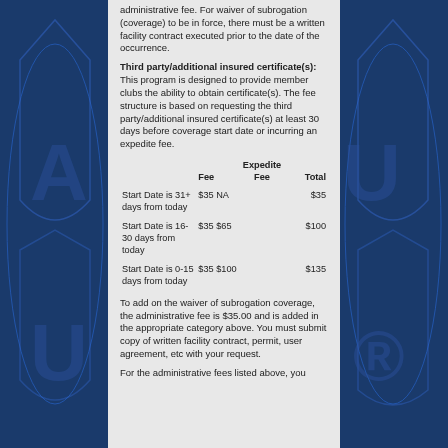administrative fee. For waiver of subrogation (coverage) to be in force, there must be a written facility contract executed prior to the date of the occurrence.
Third party/additional insured certificate(s): This program is designed to provide member clubs the ability to obtain certificate(s). The fee structure is based on requesting the third party/additional insured certificate(s) at least 30 days before coverage start date or incurring an expedite fee.
|  | Fee | Expedite Fee | Total |
| --- | --- | --- | --- |
| Start Date is 31+ days from today | $35 | NA | $35 |
| Start Date is 16-30 days from today | $35 | $65 | $100 |
| Start Date is 0-15 days from today | $35 | $100 | $135 |
To add on the waiver of subrogation coverage, the administrative fee is $35.00 and is added in the appropriate category above. You must submit copy of written facility contract, permit, user agreement, etc with your request.
For the administrative fees listed above, you